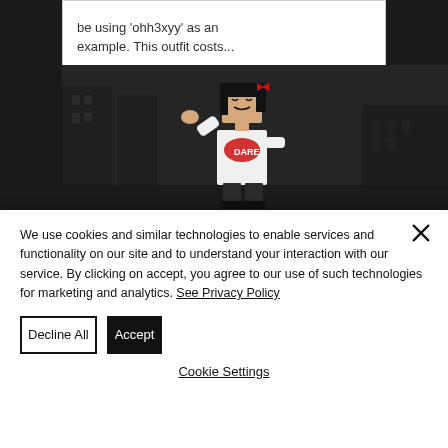be using 'ohh3xyy' as an example. This outfit costs...
[Figure (screenshot): Roblox character with dark hair and white graphic t-shirt, waving, against a dark urban background]
We use cookies and similar technologies to enable services and functionality on our site and to understand your interaction with our service. By clicking on accept, you agree to our use of such technologies for marketing and analytics. See Privacy Policy
Decline All
Accept
Cookie Settings